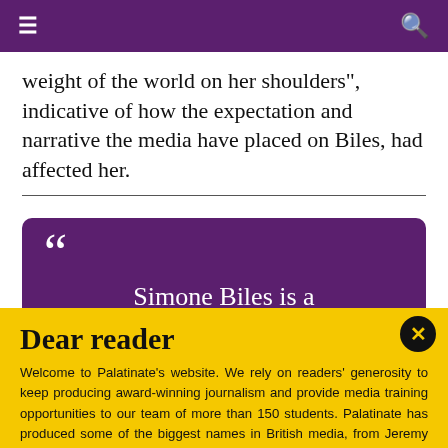☰ [menu] Q [search]
weight of the world on her shoulders", indicative of how the expectation and narrative the media have placed on Biles, had affected her.
[Figure (other): Purple pull-quote box with large quotation marks and text: 'Simone Biles is a']
Dear reader
Welcome to Palatinate's website. We rely on readers' generosity to keep producing award-winning journalism and provide media training opportunities to our team of more than 150 students. Palatinate has produced some of the biggest names in British media, from Jeremy Vine to the late great Sir Harold Evans. Every contribution to Palatinate is an investment into the future of journalism.
Donate